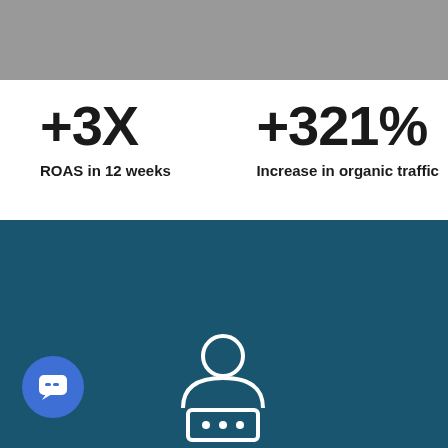[Figure (photo): Gray image/photo placeholder at top of page]
+3X
ROAS in 12 weeks
+321%
Increase in organic traffic
[Figure (screenshot): Chat popup widget with avatar showing: 'Need help? 🇺🇸 / ¿Necesitas ayuda? 🇲🇽' with close X button. Blue teal background section with partial text 'e working Puzzle?' visible. Blue chat bubble button and person icon at bottom.]